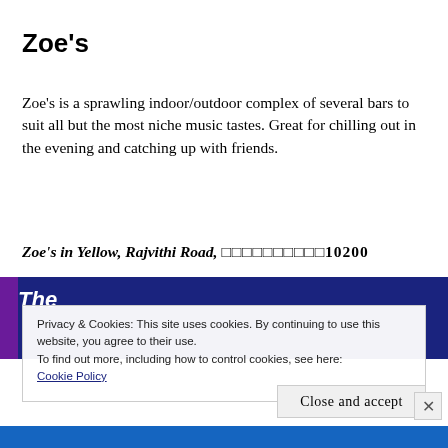Zoe's
Zoe's is a sprawling indoor/outdoor complex of several bars to suit all but the most niche music tastes. Great for chilling out in the evening and catching up with friends.
Zoe's in Yellow, Rajvithi Road, ☐☐☐☐☐☐☐☐☐☐10200
[Figure (photo): Dark blue background with white italic text 'The' visible, partial venue photo with purple side strip]
Privacy & Cookies: This site uses cookies. By continuing to use this website, you agree to their use.
To find out more, including how to control cookies, see here:
Cookie Policy
Close and accept